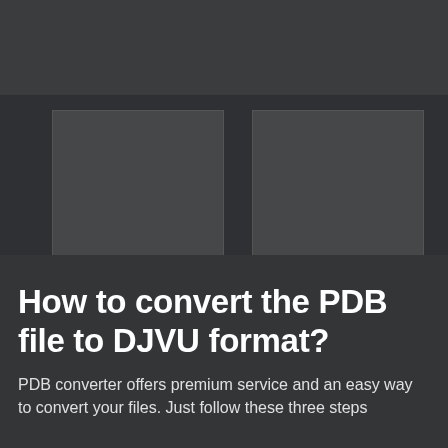[Figure (illustration): Two placeholder thumbnail boxes on a dark background, arranged side by side, representing file format conversion (PDB to DJVU). Dark grey background with slightly lighter grey rectangles.]
How to convert the PDB file to DJVU format?
PDB converter offers premium service and an easy way to convert your files. Just follow these three steps